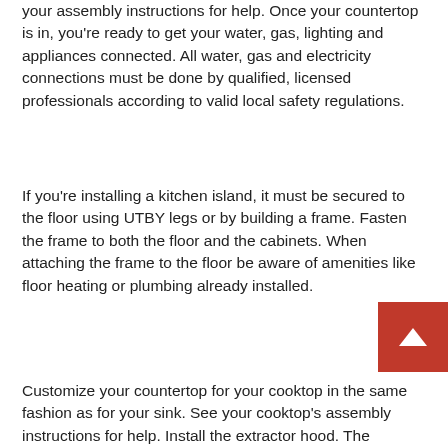your assembly instructions for help. Once your countertop is in, you're ready to get your water, gas, lighting and appliances connected. All water, gas and electricity connections must be done by qualified, licensed professionals according to valid local safety regulations.
If you're installing a kitchen island, it must be secured to the floor using UTBY legs or by building a frame. Fasten the frame to both the floor and the cabinets. When attaching the frame to the floor be aware of amenities like floor heating or plumbing already installed.
Customize your countertop for your cooktop in the same fashion as for your sink. See your cooktop's assembly instructions for help. Install the extractor hood. The extractor hoods at IKEA can be installed in two ways: either ducted to the outside, called extraction, or used in recirculation mode fitted with a charcoal filter. Each installation option is described in the assembly instructions that come with the product. Saw the hole either in the back panel or in the top of the cabinet. See the assembly instructions. For safety and functionality reason